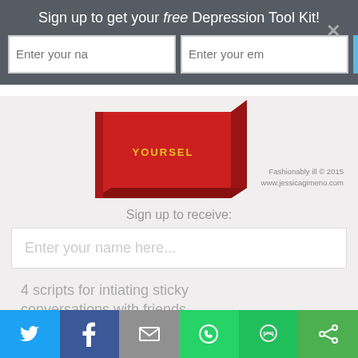Sign up to get your free Depression Tool Kit!
Enter your na | Enter your em | Sign Up
[Figure (photo): Red book with text 'YOURSELF' partially visible, with watermark 'Fashionably ill © 2015 www.jessicagimeno.com']
Sign up to receive:
10 strategies for getting stuff done during depression
4 scripts for intiating sticky conversations with friends, professors, & employers
Enter your name here...
[Figure (infographic): Social share bar with Twitter, Facebook, Email, WhatsApp, SMS, and Share icons]